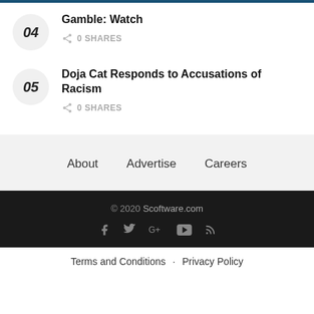04 Gamble: Watch
0 SHARES
05 Doja Cat Responds to Accusations of Racism
0 SHARES
About · Advertise · Careers
© 2020 Scoftware.com
Terms and Conditions · Privacy Policy